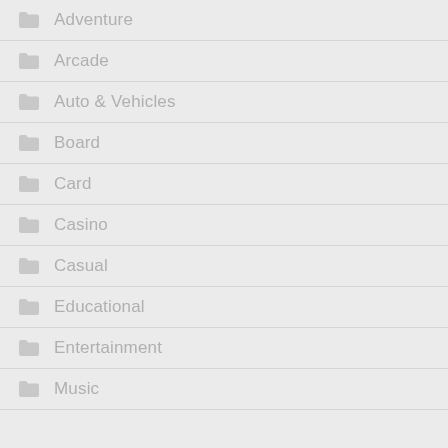Adventure
Arcade
Auto & Vehicles
Board
Card
Casino
Casual
Educational
Entertainment
Music